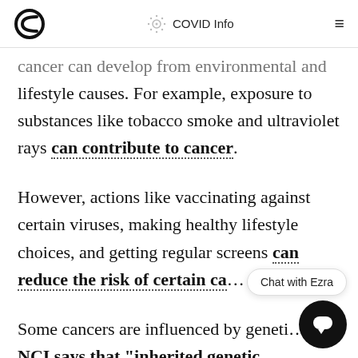COVID Info
cancer can develop from environmental and lifestyle causes. For example, exposure to substances like tobacco smoke and ultraviolet rays can contribute to cancer.
However, actions like vaccinating against certain viruses, making healthy lifestyle choices, and getting regular screens can reduce the risk of certain ca...
Some cancers are influenced by geneti... The NCI says that "inherited genetic